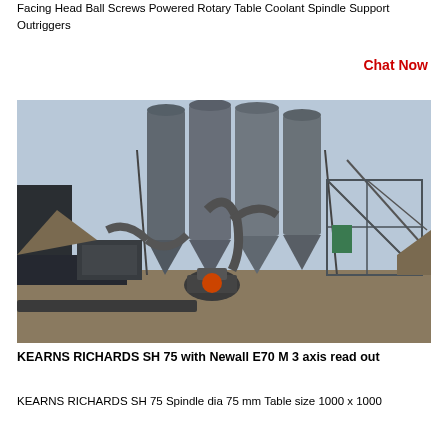Facing Head Ball Screws Powered Rotary Table Coolant Spindle Support Outriggers
Chat Now
[Figure (photo): Industrial milling/grinding plant with large silos, cyclone separators, piping and heavy machinery equipment in an open yard setting]
KEARNS RICHARDS SH 75 with Newall E70 M 3 axis read out
KEARNS RICHARDS SH 75 Spindle dia 75 mm Table size 1000 x 1000